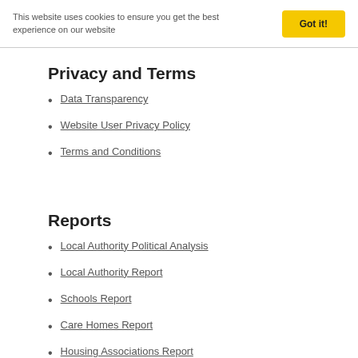This website uses cookies to ensure you get the best experience on our website
Got it!
Privacy and Terms
Data Transparency
Website User Privacy Policy
Terms and Conditions
Reports
Local Authority Political Analysis
Local Authority Report
Schools Report
Care Homes Report
Housing Associations Report